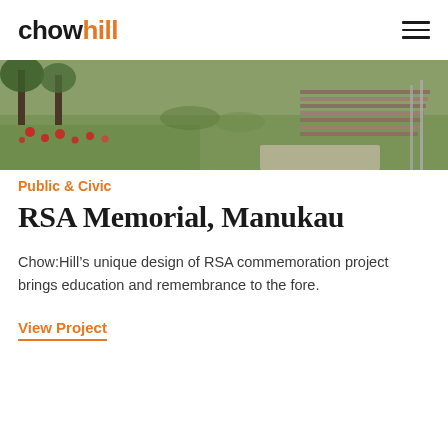chowhill
[Figure (photo): Outdoor memorial landscape photo showing green grass, red flowers, trees, and a modern wooden/stone structure in the background]
Public & Civic
RSA Memorial, Manukau
Chow:Hill’s unique design of RSA commemoration project brings education and remembrance to the fore.
View Project